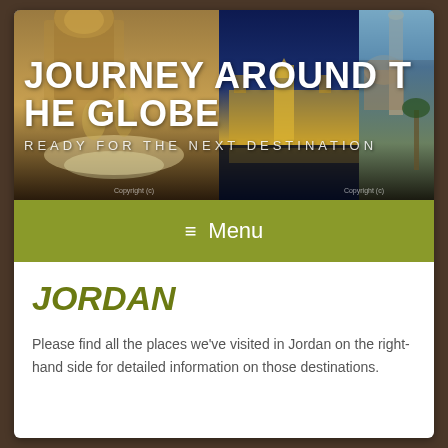[Figure (photo): Travel website hero banner showing collage of world landmarks including Trevi Fountain (Rome), Hungarian Parliament (Budapest), and Cairo mosque at night, with large white text overlay reading 'JOURNEY AROUND THE GLOBE' and subtitle 'READY FOR THE NEXT DESTINATION']
≡  Menu
JORDAN
Please find all the places we've visited in Jordan on the right-hand side for detailed information on those destinations.